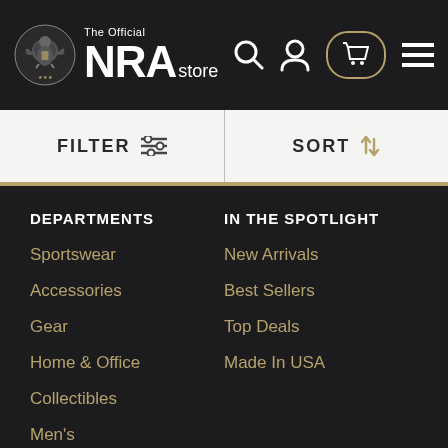[Figure (logo): The Official NRA Store logo with eagle seal on dark background, with search, user, cart, and menu icons]
FILTER | SORT
DEPARTMENTS
Sportswear
Accessories
Gear
Home & Office
Collectibles
Men's
Women's
Instructors
IN THE SPOTLIGHT
New Arrivals
Best Sellers
Top Deals
Made In USA